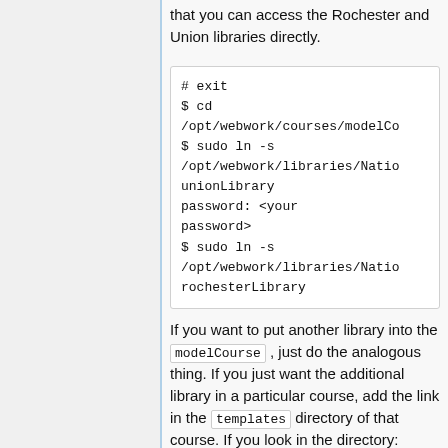that you can access the Rochester and Union libraries directly.
[Figure (screenshot): Code block showing terminal commands: # exit, $ cd /opt/webwork/courses/modelCo..., $ sudo ln -s /opt/webwork/libraries/Natio... unionLibrary, password: <your password>, $ sudo ln -s /opt/webwork/libraries/Natio... rochesterLibrary]
If you want to put another library into the modelCourse, just do the analogous thing. If you just want the additional library in a particular course, add the link in the templates directory of that course. If you look in the directory: